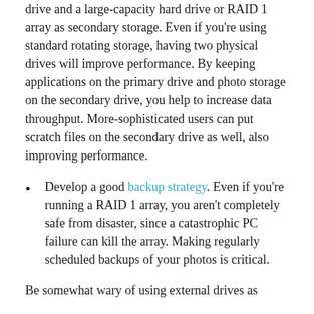drive and a large-capacity hard drive or RAID 1 array as secondary storage. Even if you're using standard rotating storage, having two physical drives will improve performance. By keeping applications on the primary drive and photo storage on the secondary drive, you help to increase data throughput. More-sophisticated users can put scratch files on the secondary drive as well, also improving performance.
Develop a good backup strategy. Even if you're running a RAID 1 array, you aren't completely safe from disaster, since a catastrophic PC failure can kill the array. Making regularly scheduled backups of your photos is critical.
Be somewhat wary of using external drives as